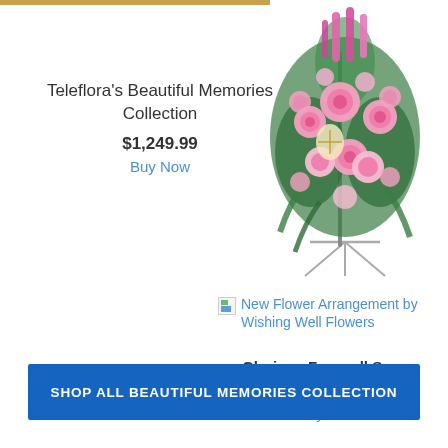[Figure (photo): Pink floral spray arrangement on a stand from Teleflora's Beautiful Memories Collection]
Teleflora's Beautiful Memories Collection
$1,249.99
Buy Now
[Figure (photo): Broken image placeholder for New Flower Arrangement by Wishing Well Flowers - Glorious Farewell Spray]
New Flower Arrangement by Wishing Well Flowers
Glorious Farewell Spray
$194.99
Buy Now
SHOP ALL BEAUTIFUL MEMORIES COLLECTION